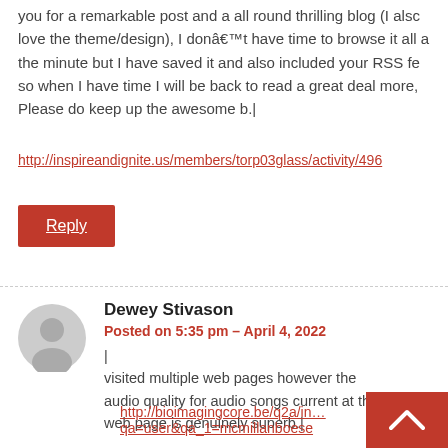you for a remarkable post and a all round thrilling blog (I also love the theme/design), I donâ€™t have time to browse it all at the minute but I have saved it and also included your RSS feed, so when I have time I will be back to read a great deal more, Please do keep up the awesome b.|
http://inspireandignite.us/members/torp03glass/activity/496…
Reply
Dewey Stivason
Posted on 5:35 pm - April 4, 2022
| visited multiple web pages however the audio quality for audio songs current at this web page is genuinely superb.|
http://bioimagingcore.be/q2a/in… qa=user&qa_1=mcmillanboese…